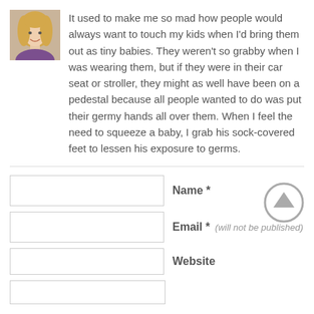[Figure (photo): Small square avatar photo of a smiling blonde woman in a purple top]
It used to make me so mad how people would always want to touch my kids when I'd bring them out as tiny babies. They weren't so grabby when I was wearing them, but if they were in their car seat or stroller, they might as well have been on a pedestal because all people wanted to do was put their germy hands all over them. When I feel the need to squeeze a baby, I grab his sock-covered feet to lessen his exposure to germs.
Name *
Email * (will not be published)
Website